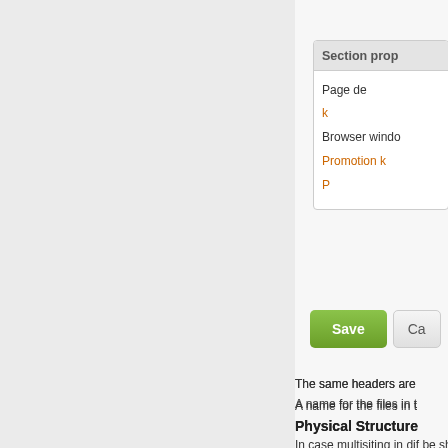[Figure (screenshot): Section properties dialog box (partially visible) showing fields: Page description, K (field), Browser window, Promotion k, P (field), with Save and Ca(ncel) buttons]
The same headers are
A name for the files in t
Physical Structure
In case multisiting in dif be shown broken down